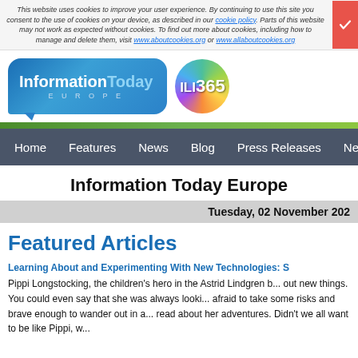This website uses cookies to improve your user experience. By continuing to use this site you consent to the use of cookies on your device, as described in our cookie policy. Parts of this website may not work as expected without cookies. To find out more about cookies, including how to manage and delete them, visit www.aboutcookies.org or www.allaboutcookies.org
[Figure (logo): Information Today Europe logo with ILI365 bubble logo]
Home   Features   News   Blog   Press Releases   Ne...
Information Today Europe
Tuesday, 02 November 202...
Featured Articles
Learning About and Experimenting With New Technologies: S...
Pippi Longstocking, the children's hero in the Astrid Lindgren b... out new things. You could even say that she was always looki... afraid to take some risks and brave enough to wander out in a... read about her adventures. Didn't we all want to be like Pippi, w...